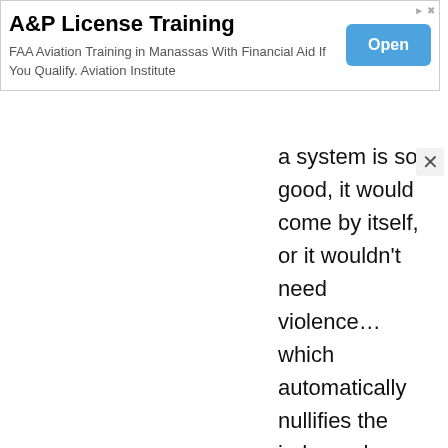[Figure (other): Advertisement banner for A&P License Training. Title: 'A&P License Training'. Subtitle: 'FAA Aviation Training in Manassas With Financial Aid If You Qualify. Aviation Institute'. Blue 'Open' button on the right.]
a system is so good, it would come by itself, or it wouldn't need violence… which automatically nullifies the independence of the US, the French revolution and the progressive rights promoted, the
[Figure (other): Close (X) button for a popup or overlay]